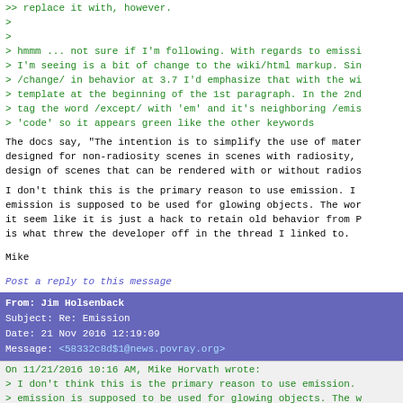>> replace it with, however.
>
>
> hmmm ... not sure if I'm following. With regards to emissi
> I'm seeing is a bit of change to the wiki/html markup. Sin
> /change/ in behavior at 3.7 I'd emphasize that with the wi
> template at the beginning of the 1st paragraph. In the 2nd
> tag the word /except/ with 'em' and it's neighboring /emis
> 'code' so it appears green like the other keywords
The docs say, "The intention is to simplify the use of mater
designed for non-radiosity scenes in scenes with radiosity,
design of scenes that can be rendered with or without radios
I don't think this is the primary reason to use emission. I
emission is supposed to be used for glowing objects. The wor
it seem like it is just a hack to retain old behavior from P
is what threw the developer off in the thread I linked to.
Mike
Post a reply to this message
From: Jim Holsenback
Subject: Re: Emission
Date: 21 Nov 2016 12:19:09
Message: <58332c8d$1@news.povray.org>
On 11/21/2016 10:16 AM, Mike Horvath wrote:
> I don't think this is the primary reason to use emission.
> emission is supposed to be used for glowing objects. The w